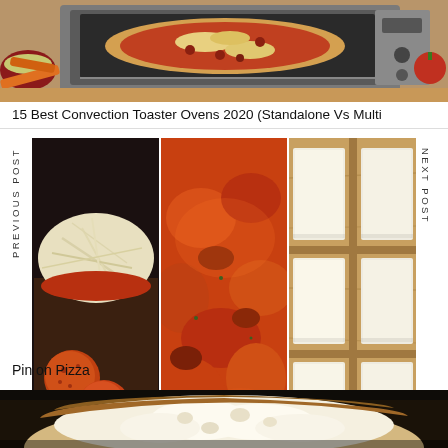[Figure (photo): Photo of a convection toaster oven with pizza inside, carrots and cheese bowl visible, kitchen countertop setting]
15 Best Convection Toaster Ovens 2020 (Standalone Vs Multi
[Figure (photo): Three food photos side by side: left shows pepperoni slices and shredded cheese in a pan, center shows orange tomato meat sauce in a skillet, right shows white cheese slices arranged on a wooden board]
Pin on Pizza
[Figure (photo): Close-up photo of bread or a bun with white interior, partially cut or open, in a dark baking pan]